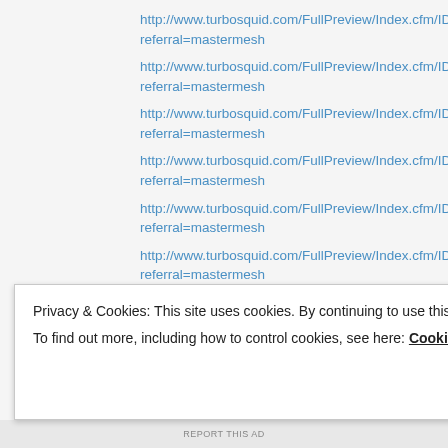http://www.turbosquid.com/FullPreview/Index.cfm/ID/216707cloud12 referral=mastermesh
http://www.turbosquid.com/FullPreview/Index.cfm/ID/216708cloud12 referral=mastermesh
http://www.turbosquid.com/FullPreview/Index.cfm/ID/216709cloud12 referral=mastermesh
http://www.turbosquid.com/FullPreview/Index.cfm/ID/216710cloud12 referral=mastermesh
http://www.turbosquid.com/FullPreview/Index.cfm/ID/216711cloud12 referral=mastermesh
http://www.turbosquid.com/FullPreview/Index.cfm/ID/216712cloud12 referral=mastermesh
http://www.turbosquid.com/FullPreview/Index.cfm/ID/216713cloud12 referral=mastermesh
http://www.turbosquid.com/FullPreview/Index.cfm/ID/216714cloud12
Privacy & Cookies: This site uses cookies. By continuing to use this website, you agree to their use. To find out more, including how to control cookies, see here: Cookie Policy
REPORT THIS AD